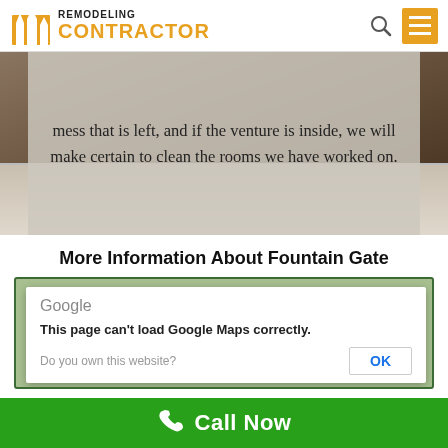[Figure (logo): Remodeling Contractor logo with orange building icon and text]
[Figure (screenshot): Hero image showing interior flooring/baseboard with semi-transparent overlay containing text]
mess that is left, and if the venture is inside, we will make certain to clean the rooms we have worked on.
More Information About Fountain Gate
[Figure (screenshot): Google Maps embed with error dialog: 'This page can't load Google Maps correctly.' with OK button and 'Do you own this website?' text]
Call Now